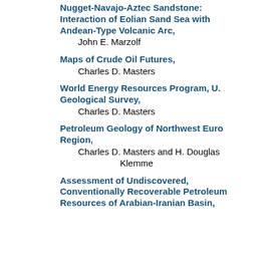Nugget-Navajo-Aztec Sandstone: Interaction of Eolian Sand Sea with Andean-Type Volcanic Arc,
John E. Marzolf
Maps of Crude Oil Futures,
Charles D. Masters
World Energy Resources Program, U. Geological Survey,
Charles D. Masters
Petroleum Geology of Northwest Euro Region,
Charles D. Masters and H. Douglas Klemme
Assessment of Undiscovered, Conventionally Recoverable Petroleum Resources of Arabian-Iranian Basin,